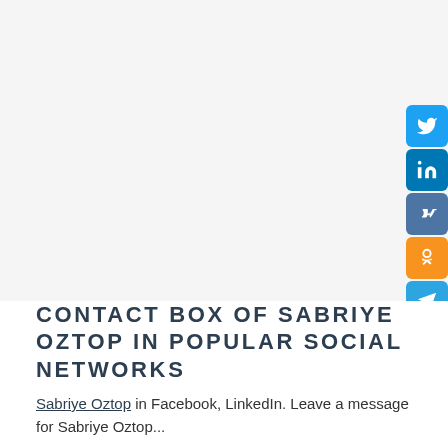[Figure (infographic): Social network sharing buttons on the right side: Twitter (blue bird), LinkedIn (in), VK (VK), OK (Odnoklassniki orange), Telegram (paper plane), Tumblr (t)]
CONTACT BOX OF SABRIYE OZTOP IN POPULAR SOCIAL NETWORKS
Sabriye Oztop in Facebook, LinkedIn. Leave a message for Sabriye Oztop...